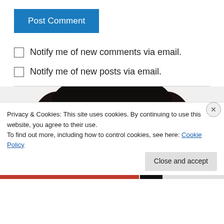Post Comment
Notify me of new comments via email.
Notify me of new posts via email.
[Figure (photo): Top portion of a person's head with black hair, cropped to show only forehead and hair.]
Privacy & Cookies: This site uses cookies. By continuing to use this website, you agree to their use.
To find out more, including how to control cookies, see here: Cookie Policy
Close and accept